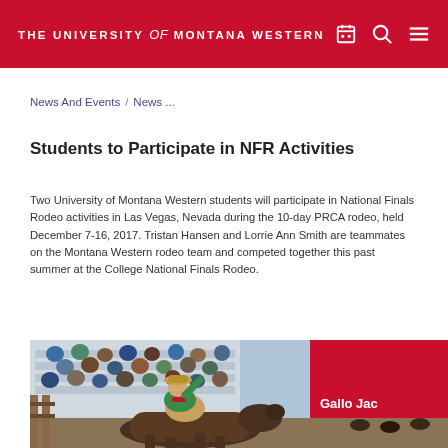THE UNIVERSITY of MONTANA WESTERN
News And Events / News ...
Students to Participate in NFR Activities
Two University of Montana Western students will participate in National Finals Rodeo activities in Las Vegas, Nevada during the 10-day PRCA rodeo, held December 7-16, 2017. Tristan Hansen and Lorrie Ann Smith are teammates on the Montana Western rodeo team and competed together this past summer at the College National Finals Rodeo.
[Figure (photo): A rodeo rider on a bucking horse at a rodeo event, with spectators in bleachers in the background and a red barn/building visible. The rider is wearing a cowboy hat, green shirt, and is being thrown back by the bucking horse.]